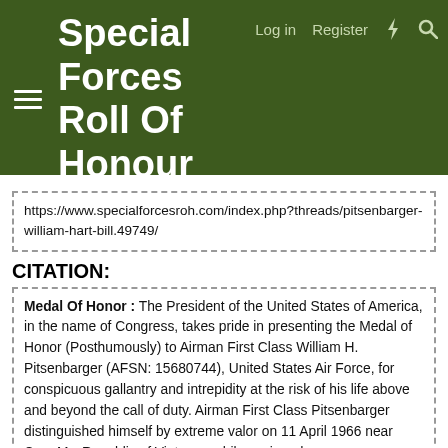Special Forces Roll Of Honour
https://www.specialforcesroh.com/index.php?threads/pitsenbarger-william-hart-bill.49749/
CITATION:
Medal Of Honor : The President of the United States of America, in the name of Congress, takes pride in presenting the Medal of Honor (Posthumously) to Airman First Class William H. Pitsenbarger (AFSN: 15680744), United States Air Force, for conspicuous gallantry and intrepidity at the risk of his life above and beyond the call of duty. Airman First Class Pitsenbarger distinguished himself by extreme valor on 11 April 1966 near Cam My, Republic of Vietnam, while assigned as a Rescue Crew Member, Detachment 6, 38th...